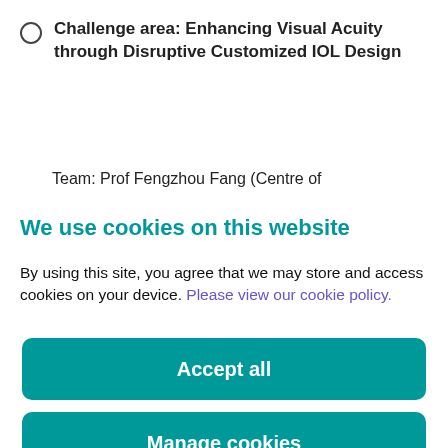Challenge area: Enhancing Visual Acuity through Disruptive Customized IOL Design
Team: Prof Fengzhou Fang (Centre of
We use cookies on this website
By using this site, you agree that we may store and access cookies on your device. Please view our cookie policy.
Accept all
Manage cookies